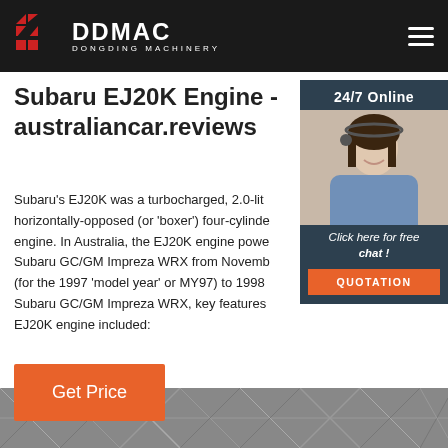DDMAC DONGDING MACHINERY
Subaru EJ20K Engine - australiancar.reviews
Subaru's EJ20K was a turbocharged, 2.0-lit horizontally-opposed (or 'boxer') four-cylinder engine. In Australia, the EJ20K engine powered the Subaru GC/GM Impreza WRX from November (for the 1997 'model year' or MY97) to 1998 Subaru GC/GM Impreza WRX, key features of the EJ20K engine included:
[Figure (photo): Customer service agent woman wearing headset, smiling, with 24/7 Online badge and Click here for free chat, QUOTATION button overlay]
Click here for free chat !
QUOTATION
Get Price
[Figure (photo): Dark metallic textured surface, bottom strip image]